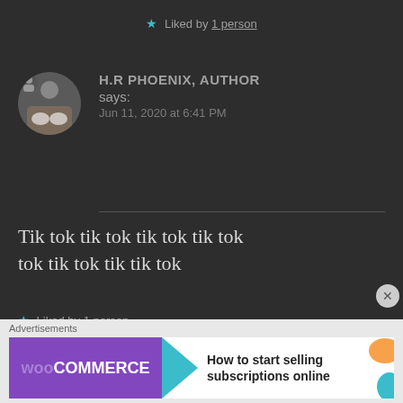★ Liked by 1 person
H.R PHOENIX, AUTHOR says: Jun 11, 2020 at 6:41 PM
Tik tok tik tok tik tok tik tok tok tik tok tik tik tok
★ Liked by 1 person
Advertisements
[Figure (screenshot): WooCommerce advertisement banner: purple WooCommerce logo with teal arrow and text 'How to start selling subscriptions online']